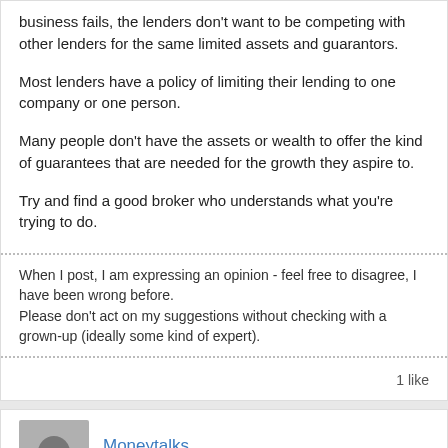business fails, the lenders don't want to be competing with other lenders for the same limited assets and guarantors.
Most lenders have a policy of limiting their lending to one company or one person.
Many people don't have the assets or wealth to offer the kind of guarantees that are needed for the growth they aspire to.
Try and find a good broker who understands what you're trying to do.
When I post, I am expressing an opinion - feel free to disagree, I have been wrong before.
Please don't act on my suggestions without checking with a grown-up (ideally some kind of expert).
1 like
Moneytalks
Member